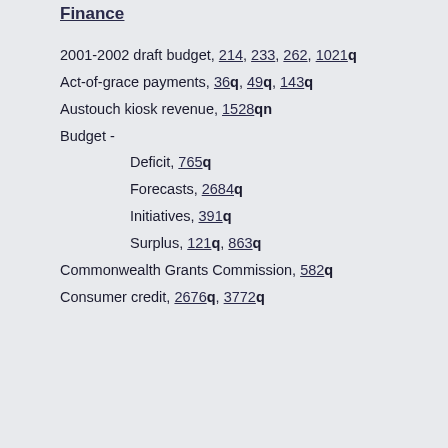Finance
2001-2002 draft budget, 214, 233, 262, 1021q
Act-of-grace payments, 36q, 49q, 143q
Austouch kiosk revenue, 1528qn
Budget -
Deficit, 765q
Forecasts, 2684q
Initiatives, 391q
Surplus, 121q, 863q
Commonwealth Grants Commission, 582q
Consumer credit, 2676q, 3772q